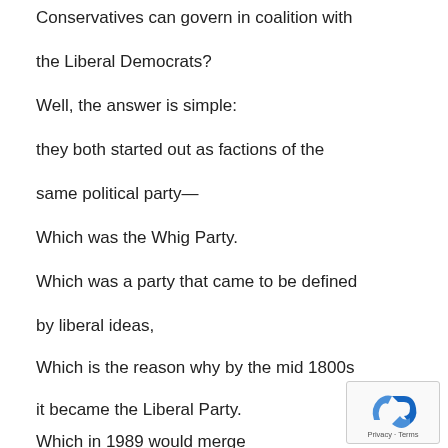Conservatives can govern in coalition with the Liberal Democrats?
Well, the answer is simple:
they both started out as factions of the same political party—
Which was the Whig Party.
Which was a party that came to be defined by liberal ideas,
Which is the reason why by the mid 1800s it became the Liberal Party.
Which in 1989 would merge with the
Social Democrats,
[Figure (logo): reCAPTCHA badge with Privacy and Terms link]